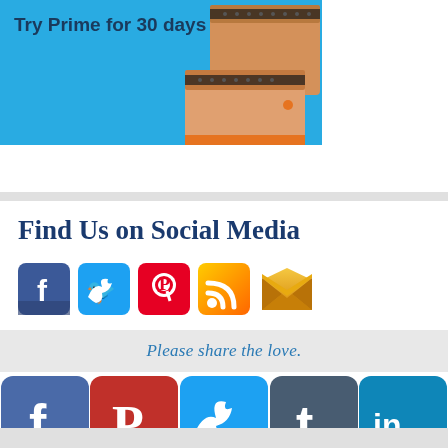[Figure (photo): Amazon Prime banner advertisement with text 'Try Prime for 30 days' and Amazon boxes on blue background]
Find Us on Social Media
[Figure (infographic): Row of social media icons: Facebook, Twitter, Pinterest, RSS, Email/envelope]
Please share the love.
[Figure (infographic): Row of large social share buttons: Facebook, Pinterest, Twitter, Tumblr, LinkedIn with counter 0 below Twitter]